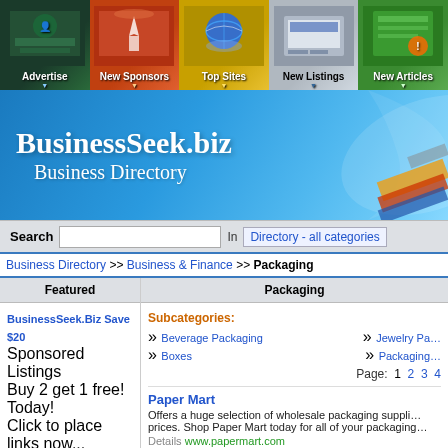[Figure (screenshot): Navigation bar with menu items: Advertise, New Sponsors, Top Sites, New Listings, New Articles]
[Figure (logo): BusinessSeek.biz Business Directory banner logo with blue gradient background]
Search  In  Directory - all categories
Business Directory >> Business & Finance >> Packaging
| Featured | Packaging |
| --- | --- |
| BusinessSeek.Biz Save $20
Sponsored Listings
Buy 2 get 1 free! Today!
Click to place links now...
businessseek.biz | Subcategories:
» Beverage Packaging » Jewelry Pa...
» Boxes » Packaging...
Page: 1 2 3 4
Paper Mart
Offers a huge selection of wholesale packaging suppli... prices. Shop Paper Mart today for all of your packaging...
Details www.papermart.com
Place Your Link Here With Your Custom Link Text
Add your link, reach your clients! |
| Add URL
Place your link here on all pages of this category. Click here...
businessseek.biz |  |